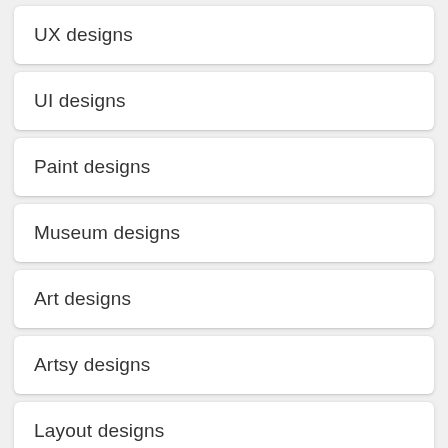UX designs
UI designs
Paint designs
Museum designs
Art designs
Artsy designs
Layout designs